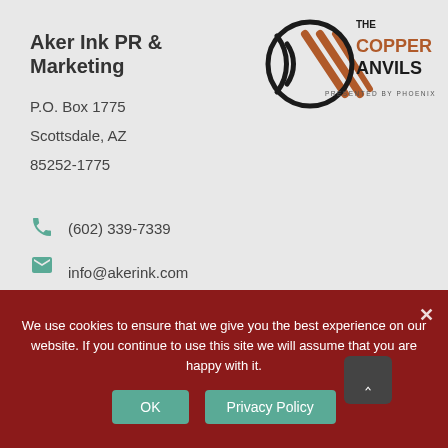[Figure (logo): The Copper Anvils logo presented by Phoenix PRSA — circular signal waves icon with diagonal lines, text 'THE COPPER ANVILS' in bold black and brown, 'PRESENTED BY PHOENIX PRSA' in small text below]
Aker Ink PR & Marketing
P.O. Box 1775
Scottsdale, AZ
85252-1775
(602) 339-7339
info@akerink.com
We use cookies to ensure that we give you the best experience on our website. If you continue to use this site we will assume that you are happy with it.